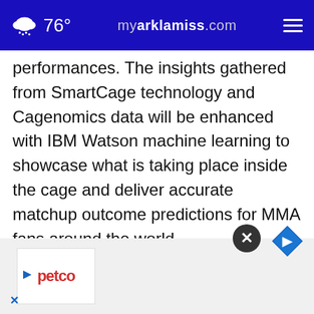76° myarklamiss.com
performances. The insights gathered from SmartCage technology and Cagenomics data will be enhanced with IBM Watson machine learning to showcase what is taking place inside the cage and deliver accurate matchup outcome predictions for MMA fans around the world.
"The Professional Fighters League is pioneering the future of MMA with proprietary technology that enables showcasing the sport like ever before... partnership with flagship solutions group and
[Figure (other): Petco advertisement banner with navigation icon overlay and close button]